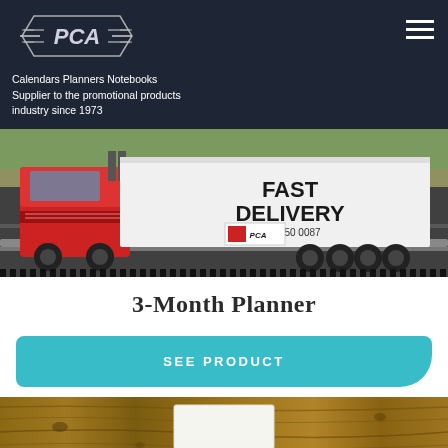PCA — Calendars Planners Notebooks Supplier to the promotional products industry since 1973
[Figure (photo): Photo of a red truck with white trailer on a highway. The trailer reads 'FAST DELIVERY 514 450 0087'. A PCA logo is visible on the trailer side.]
3-Month Planner
SEE PRODUCT
[Figure (photo): Partial view of a wood-grain surface with a white card/notebook visible in the center.]